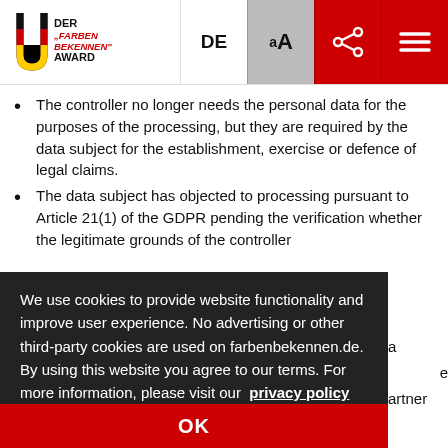DER FARBEN BEKENNEN AWARD — DE | aA | share | menu
The controller no longer needs the personal data for the purposes of the processing, but they are required by the data subject for the establishment, exercise or defence of legal claims.
The data subject has objected to processing pursuant to Article 21(1) of the GDPR pending the verification whether the legitimate grounds of the controller
We use cookies to provide website functionality and improve user experience. No advertising or other third-party cookies are used on farbenbekennen.de. By using this website you agree to our terms. For more information, please visit our privacy policy page.
OK